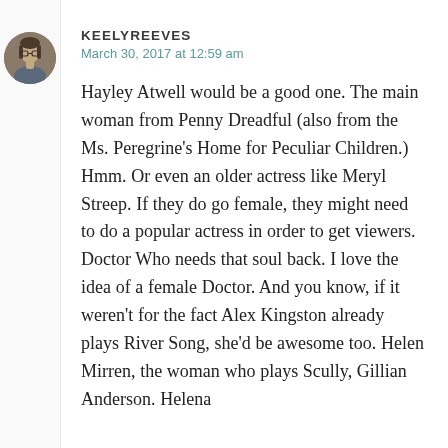[Figure (photo): Circular avatar photo of user keelyreeves, showing a person with glasses]
KEELYREEVES
March 30, 2017 at 12:59 am
Hayley Atwell would be a good one. The main woman from Penny Dreadful (also from the Ms. Peregrine's Home for Peculiar Children.) Hmm. Or even an older actress like Meryl Streep. If they do go female, they might need to do a popular actress in order to get viewers. Doctor Who needs that soul back. I love the idea of a female Doctor. And you know, if it weren't for the fact Alex Kingston already plays River Song, she'd be awesome too. Helen Mirren, the woman who plays Scully, Gillian Anderson. Helena